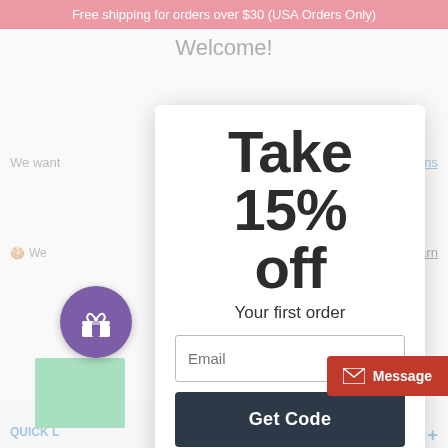Free shipping for orders over $30 (USA Orders Only)
Welcome!
We want
< returns
QUICK L
COMPAN
ABOUT
Take 15% off
Your first order
Email
Get Code
No Thanks
We
Learn
Message